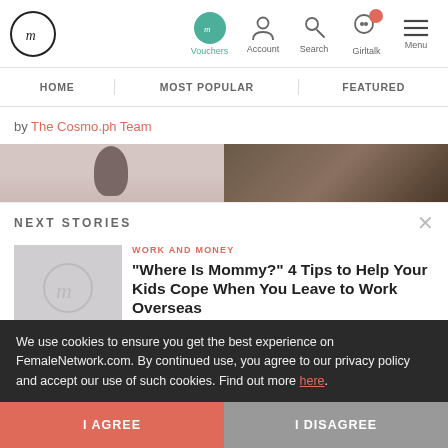FemaleNetwork.com — navigation: Vouchers, Account, Search, Girltalk, Menu
HOME | MOST POPULAR | FEATURED
by The Cosmo.ph Team
[Figure (photo): Two-panel image strip: left panel shows dark-haired person, right panel shows a darker textured background]
NEXT STORIES
[Figure (logo): Female Network logo placeholder thumbnail]
WORK AND MONEY
"Where Is Mommy?" 4 Tips to Help Your Kids Cope When You Leave to Work Overseas
We use cookies to ensure you get the best experience on FemaleNetwork.com. By continued use, you agree to our privacy policy and accept our use of such cookies. Find out more here.
I AGREE
I DISAGREE